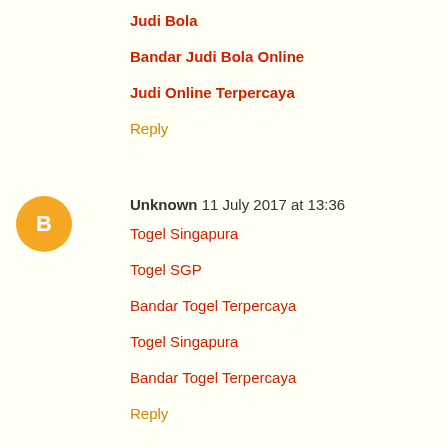Judi Bola
Bandar Judi Bola Online
Judi Online Terpercaya
Reply
Unknown  11 July 2017 at 13:36
Togel Singapura
Togel SGP
Bandar Togel Terpercaya
Togel Singapura
Bandar Togel Terpercaya
Reply